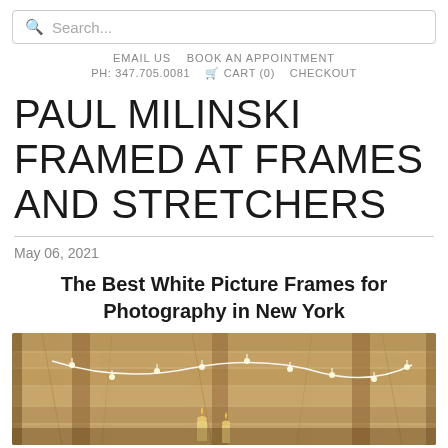Search...
EMAIL US   BOOK AN APPOINTMENT   PH: 347.705.0081   CART (0)   CHECKOUT
PAUL MILINSKI FRAMED AT FRAMES AND STRETCHERS
May 06, 2021
The Best White Picture Frames for Photography in New York
[Figure (photo): Interior of a wood-framed structure with string lights hanging from the rafters, visible wooden beams and lumber, with small candles or lights on a surface below.]